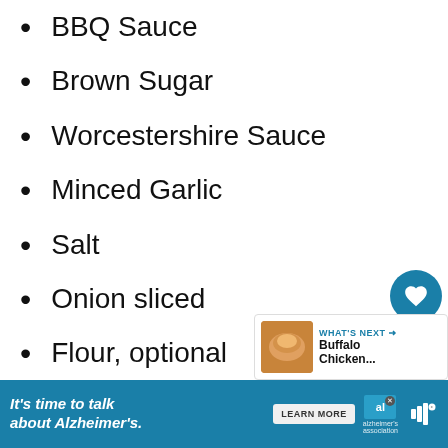BBQ Sauce
Brown Sugar
Worcestershire Sauce
Minced Garlic
Salt
Onion sliced
Flour, optional
[Figure (infographic): Social sidebar with heart icon (teal circle, 609 likes) and share icon (light grey circle)]
[Figure (infographic): What's Next card showing Buffalo Chicken... with a food thumbnail image]
[Figure (infographic): Footer advertisement: It's time to talk about Alzheimer's. with LEARN MORE button and Alzheimer's Association logo]